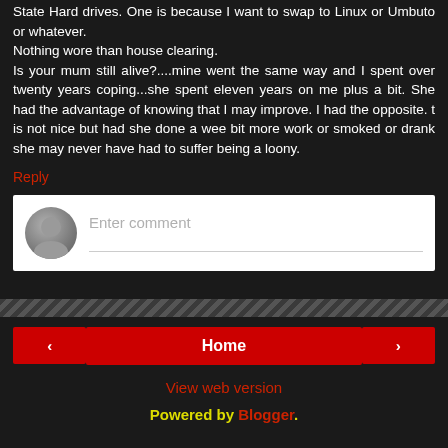State Hard drives. One is because I want to swap to Linux or Umbuto or whatever.
Nothing wore than house clearing.
Is your mum still alive?....mine went the same way and I spent over twenty years coping...she spent eleven years on me plus a bit. She had the advantage of knowing that I may improve. I had the opposite. t is not nice but had she done a wee bit more work or smoked or drank she may never have had to suffer being a loony.
Reply
[Figure (screenshot): Comment input box with avatar icon and placeholder text 'Enter comment']
Home | < | > | View web version | Powered by Blogger.